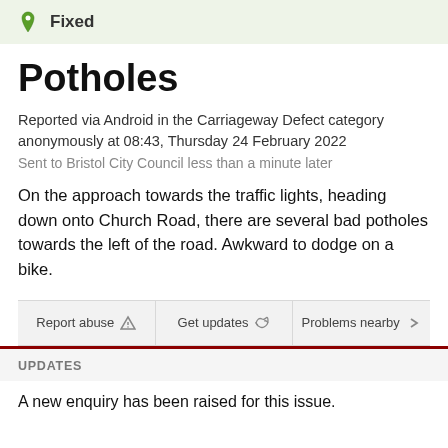Fixed
Potholes
Reported via Android in the Carriageway Defect category anonymously at 08:43, Thursday 24 February 2022
Sent to Bristol City Council less than a minute later
On the approach towards the traffic lights, heading down onto Church Road, there are several bad potholes towards the left of the road. Awkward to dodge on a bike.
Report abuse
Get updates
Problems nearby
UPDATES
A new enquiry has been raised for this issue.